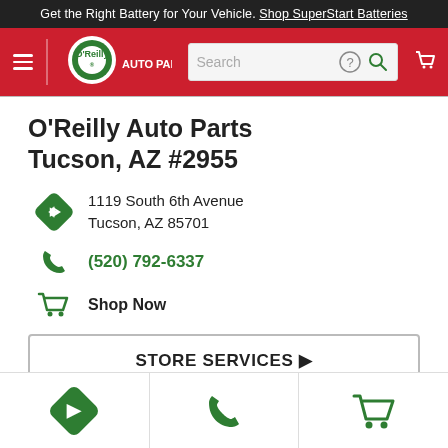Get the Right Battery for Your Vehicle. Shop SuperStart Batteries
[Figure (logo): O'Reilly Auto Parts logo with hamburger menu, search bar, help icon, search icon, and cart icon in red navigation bar]
O'Reilly Auto Parts Tucson, AZ #2955
1119 South 6th Avenue Tucson, AZ 85701
(520) 792-6337
Shop Now
STORE SERVICES ▶